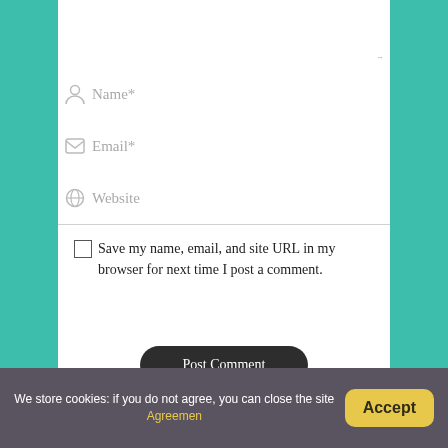[Figure (screenshot): Comment form UI with textarea, Name, Email, Website fields, checkbox for saving info, and Post Comment button]
Name*
Email*
Website
Save my name, email, and site URL in my browser for next time I post a comment.
Post Comment
We store cookies: if you do not agree, you can close the site Agreemen
Accept